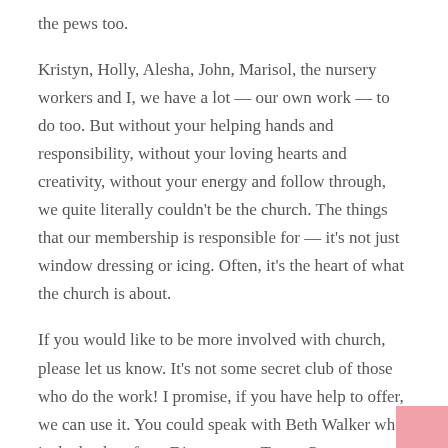the pews too.
Kristyn, Holly, Alesha, John, Marisol, the nursery workers and I, we have a lot — our own work — to do too. But without your helping hands and responsibility, without your loving hearts and creativity, without your energy and follow through, we quite literally couldn't be the church. The things that our membership is responsible for — it's not just window dressing or icing. Often, it's the heart of what the church is about.
If you would like to be more involved with church, please let us know. It's not some secret club of those who do the work! I promise, if you have help to offer, we can use it. You could speak with Beth Walker who is the leader of our Discernment Team. Or you can speak with me. Or just message Kristyn in the office. If all of those seem too much — just tell someone around here that you might be able to help. I